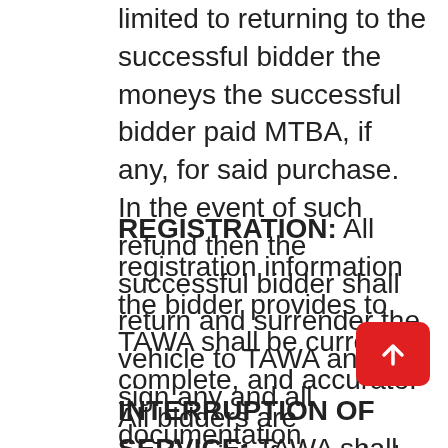limited to returning to the successful bidder the moneys the successful bidder paid MTBA, if any, for said purchase. In the event of such refund then the successful bidder shall return and surrender the vehicle to TAWA and sign any and all documentation necessary to transfer title to TAWA or a different person/entity in TAWA's discretion.
REGISTRATION: All registration information the bidder provides to TAWA shall be current, complete, and accurate. All bidders are responsible for any bids placed under their bidding numbers and passwords. The security of bidder information is the responsibility of the bidder. Bidders must notify TAWA if they believe that their bidder number and password have been compromised.
INTERRUPTION OF SERVICE: TAWA shall not be held responsible for any interruption in service, errors, and/or omissions, caused by